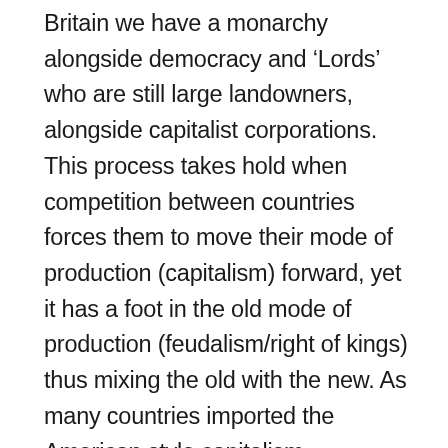Britain we have a monarchy alongside democracy and 'Lords' who are still large landowners, alongside capitalist corporations. This process takes hold when competition between countries forces them to move their mode of production (capitalism) forward, yet it has a foot in the old mode of production (feudalism/right of kings) thus mixing the old with the new. As many countries imported the American style capitalism connected to globalisation, they also brought with it ideas of hyper meritocracy and the classless ideals of the American dream. This synthesized with the class based societies that had come before it to create the image of 'we're all middle class now' in a post-industrial society. (Which also doesn't